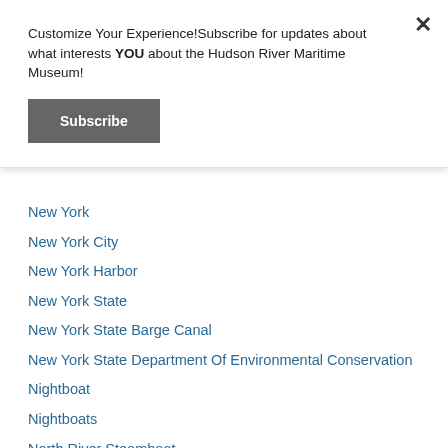Customize Your Experience!Subscribe for updates about what interests YOU about the Hudson River Maritime Museum!
New York
New York City
New York Harbor
New York State
New York State Barge Canal
New York State Department Of Environmental Conservation
Nightboat
Nightboats
North River Steamboat
NY
Nyack
Ocean Liners